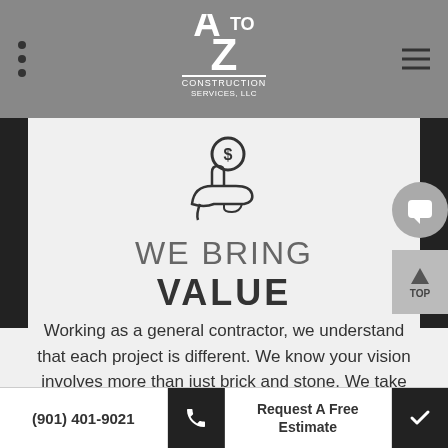A to Z Construction Services, LLC - General Contractor
[Figure (illustration): Hand holding a coin/dollar icon, representing value or money savings]
WE BRING VALUE
Working as a general contractor, we understand that each project is different. We know your vision involves more than just brick and stone. We take time to understand your needs and to provide a long-lasting value.
(901) 401-9021   Request A Free Estimate